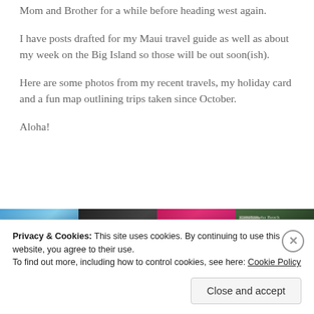Mom and Brother for a while before heading west again.
I have posts drafted for my Maui travel guide as well as about my week on the Big Island so those will be out soon(ish).
Here are some photos from my recent travels, my holiday card and a fun map outlining trips taken since October.
Aloha!
[Figure (photo): Four travel photos in a horizontal strip: a blue ocean/beach scene, a dark candlelit scene, a pink holiday card reading 'Mele Kalikimaka', and a nature/parking sign scene.]
Privacy & Cookies: This site uses cookies. By continuing to use this website, you agree to their use.
To find out more, including how to control cookies, see here: Cookie Policy
Close and accept